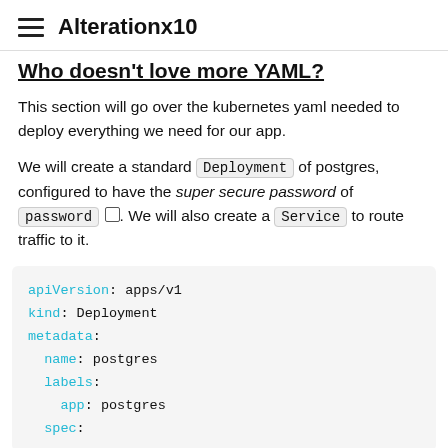Alterationx10
Who doesn't love more YAML?
This section will go over the kubernetes yaml needed to deploy everything we need for our app.
We will create a standard Deployment of postgres, configured to have the super secure password of password [copy]. We will also create a Service to route traffic to it.
apiVersion: apps/v1
kind: Deployment
metadata:
  name: postgres
  labels:
    app: postgres
  spec: